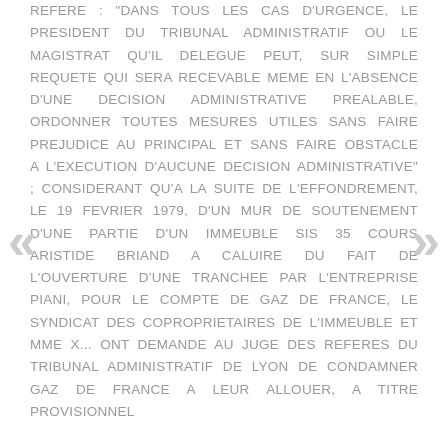REFERE : "DANS TOUS LES CAS D'URGENCE, LE PRESIDENT DU TRIBUNAL ADMINISTRATIF OU LE MAGISTRAT QU'IL DELEGUE PEUT, SUR SIMPLE REQUETE QUI SERA RECEVABLE MEME EN L'ABSENCE D'UNE DECISION ADMINISTRATIVE PREALABLE, ORDONNER TOUTES MESURES UTILES SANS FAIRE PREJUDICE AU PRINCIPAL ET SANS FAIRE OBSTACLE A L'EXECUTION D'AUCUNE DECISION ADMINISTRATIVE" ; CONSIDERANT QU'A LA SUITE DE L'EFFONDREMENT, LE 19 FEVRIER 1979, D'UN MUR DE SOUTENEMENT D'UNE PARTIE D'UN IMMEUBLE SIS 35 COURS ARISTIDE BRIAND A CALUIRE DU FAIT DE L'OUVERTURE D'UNE TRANCHEE PAR L'ENTREPRISE PIANI, POUR LE COMPTE DE GAZ DE FRANCE, LE SYNDICAT DES COPROPRIETAIRES DE L'IMMEUBLE ET MME X... ONT DEMANDE AU JUGE DES REFERES DU TRIBUNAL ADMINISTRATIF DE LYON DE CONDAMNER GAZ DE FRANCE A LEUR ALLOUER, A TITRE PROVISIONNEL